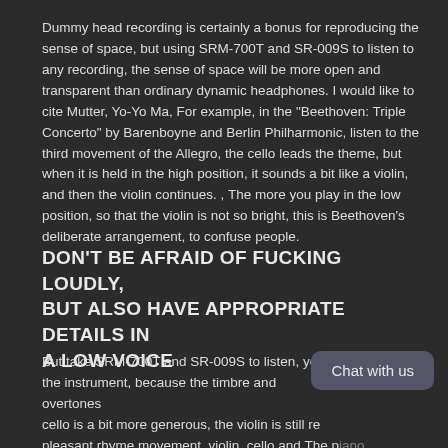Dummy head recording is certainly a bonus for reproducing the sense of space, but using SRM-700T and SR-009S to listen to any recording, the sense of space will be more open and transparent than ordinary dynamic headphones. I would like to cite Mutter, Yo-Yo Ma, For example, in the "Beethoven: Triple Concerto" by Barenboyne and Berlin Philharmonic, listen to the third movement of the Allegro, the cello leads the theme, but when it is held in the high position, it sounds a bit like a violin, and then the violin continues. , The more you play in the low position, so that the violin is not so bright, this is Beethoven's deliberate arrangement, to confuse people.
DON'T BE AFRAID OF FUCKING LOUDLY, BUT ALSO HAVE APPROPRIATE DETAILS IN A LOW VOICE
But take SRM-700T and SR-009S to listen, you will not mistake the instrument, because the timbre and overtones cello is a bit more generous, the violin is still re pleasant rhyme movement, violin, cello and The piano alternately plays the leading role, responding to each other, and decorating each other.